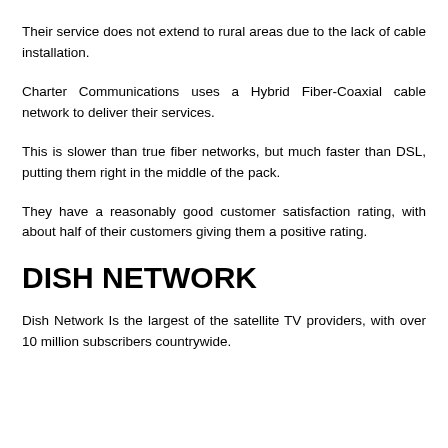Their service does not extend to rural areas due to the lack of cable installation.
Charter Communications uses a Hybrid Fiber-Coaxial cable network to deliver their services.
This is slower than true fiber networks, but much faster than DSL, putting them right in the middle of the pack.
They have a reasonably good customer satisfaction rating, with about half of their customers giving them a positive rating.
DISH NETWORK
Dish Network Is the largest of the satellite TV providers, with over 10 million subscribers countrywide.